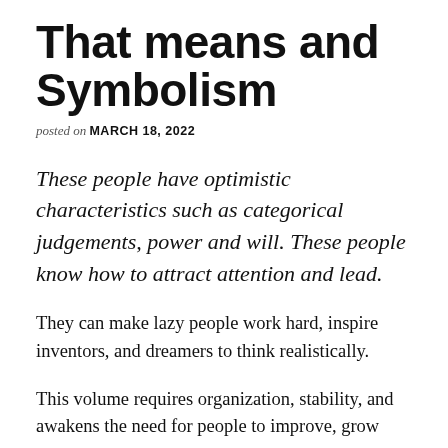That means and Symbolism
posted on MARCH 18, 2022
These people have optimistic characteristics such as categorical judgements, power and will. These people know how to attract attention and lead.
They can make lazy people work hard, inspire inventors, and dreamers to think realistically.
This volume requires organization, stability, and awakens the need for people to improve, grow